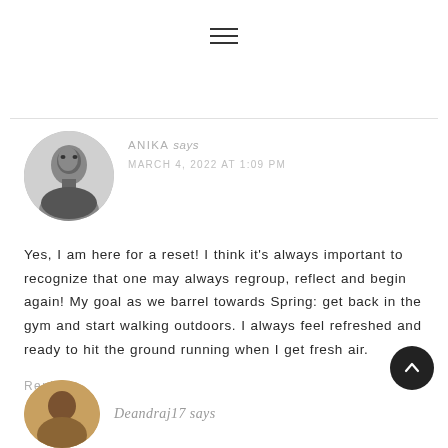[Figure (other): Hamburger menu icon (three horizontal lines)]
ANIKA says
MARCH 4, 2022 AT 1:09 PM
[Figure (photo): Circular avatar photo of a woman (Anika), black and white]
Yes, I am here for a reset! I think it's always important to recognize that one may always regroup, reflect and begin again! My goal as we barrel towards Spring: get back in the gym and start walking outdoors. I always feel refreshed and ready to hit the ground running when I get fresh air.
Reply
[Figure (other): Back-to-top button: dark circular button with upward chevron arrow]
Deandraj17 says
[Figure (photo): Circular avatar photo of a person (Deandraj17), partially visible at bottom]